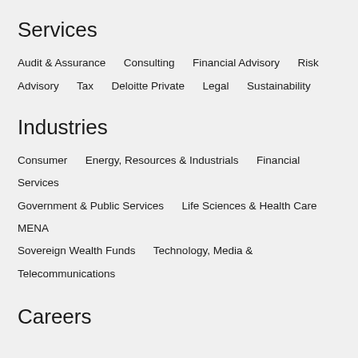Services
Audit & Assurance    Consulting    Financial Advisory    Risk Advisory    Tax    Deloitte Private    Legal    Sustainability
Industries
Consumer    Energy, Resources & Industrials    Financial Services    Government & Public Services    Life Sciences & Health Care    MENA Sovereign Wealth Funds    Technology, Media & Telecommunications
Careers